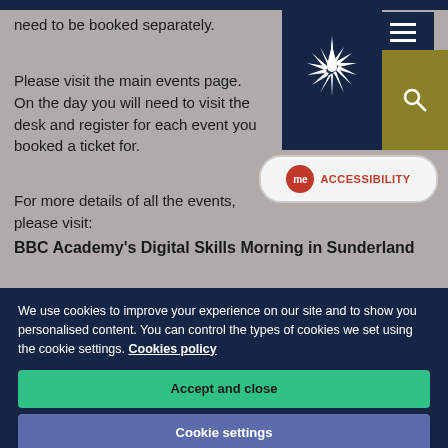need to be booked separately.
Please visit the main events page. On the day you will need to visit the desk and register for each event you booked a ticket for.
For more details of all the events, please visit:
BBC Academy's Digital Skills Morning in Sunderland
We use cookies to improve your experience on our site and to show you personalised content. You can control the types of cookies we set using the cookie settings. Cookies policy
Accept and close
Cookie settings